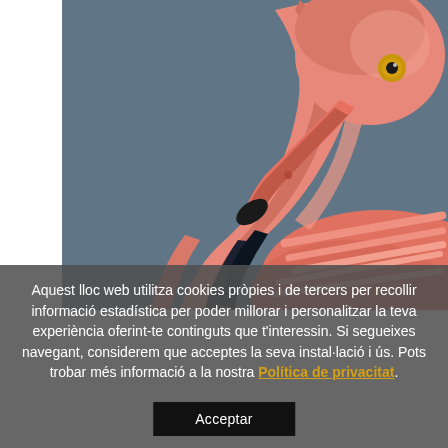[Figure (photo): Close-up photo of a flamingo with pink and white feathers, black beak tip, and golden eye, against a dark grey-blue background. The left side has a white vertical strip/border.]
Aquest lloc web utilitza cookies pròpies i de tercers per recollir informació estadística per poder millorar i personalitzar la teva experiència oferint-te continguts que t'interessin. Si segueixes navegant, considerem que acceptes la seva instal·lació i ús. Pots trobar més informació a la nostra Política de privacitat.
Acceptar